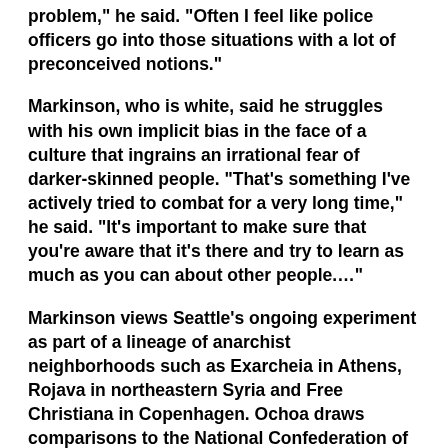problem," he said. "Often I feel like police officers go into those situations with a lot of preconceived notions."
Markinson, who is white, said he struggles with his own implicit bias in the face of a culture that ingrains an irrational fear of darker-skinned people. "That's something I've actively tried to combat for a very long time," he said. "It's important to make sure that you're aware that it's there and try to learn as much as you can about other people...."
Markinson views Seattle's ongoing experiment as part of a lineage of anarchist neighborhoods such as Exarcheia in Athens, Rojava in northeastern Syria and Free Christiana in Copenhagen. Ochoa draws comparisons to the National Confederation of Labor, which arose during the Spanish Civil War, as well as the small U.S. towns that have eliminated their police departments in favor of neighborhood watches.
The model does have its challenges. On Saturday